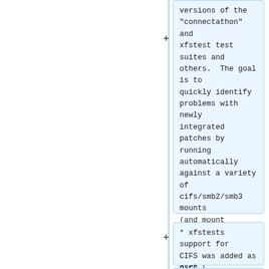versions of the "connectathon" and xfstest test suites and others.  The goal is to quickly identify problems with newly integrated patches by running automatically against a variety of cifs/smb2/smb3 mounts (and mount options) to ensure that regressions aren't introduced.
* xfstests support for CIFS was added as part of [[SoC/2014]].
* Difficulty: Medium
* Possible Mentors: Steve French